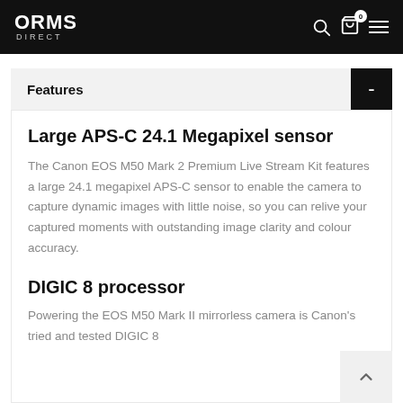ORMS DIRECT
Features
Large APS-C 24.1 Megapixel sensor
The Canon EOS M50 Mark 2 Premium Live Stream Kit features a large 24.1 megapixel APS-C sensor to enable the camera to capture dynamic images with little noise, so you can relive your captured moments with outstanding image clarity and colour accuracy.
DIGIC 8 processor
Powering the EOS M50 Mark II mirrorless camera is Canon's tried and tested DIGIC 8